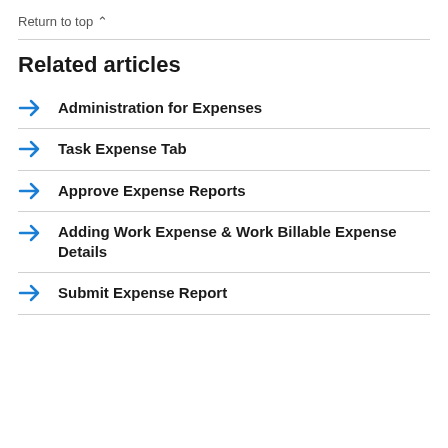Return to top ^
Related articles
Administration for Expenses
Task Expense Tab
Approve Expense Reports
Adding Work Expense & Work Billable Expense Details
Submit Expense Report